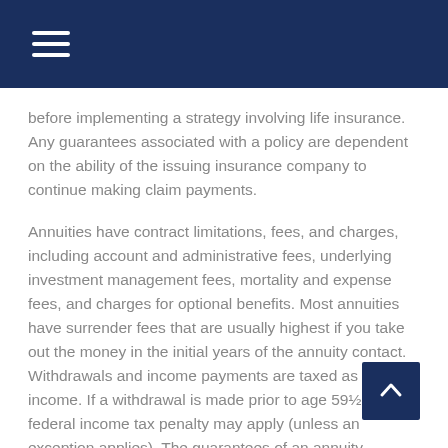before implementing a strategy involving life insurance. Any guarantees associated with a policy are dependent on the ability of the issuing insurance company to continue making claim payments.
Annuities have contract limitations, fees, and charges, including account and administrative fees, underlying investment management fees, mortality and expense fees, and charges for optional benefits. Most annuities have surrender fees that are usually highest if you take out the money in the initial years of the annuity contact. Withdrawals and income payments are taxed as ordinary income. If a withdrawal is made prior to age 59½, a 10% federal income tax penalty may apply (unless an exception applies). The guarantees of an annuity contract depend on the issuing company's claims-paying ability. Annuities are not guaranteed by the FDIC or any other government